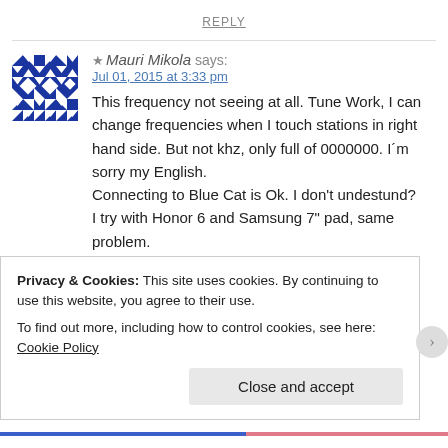REPLY
[Figure (illustration): Blue and white geometric/diamond patterned avatar image]
★ Mauri Mikola says:
Jul 01, 2015 at 3:33 pm
This frequency not seeing at all. Tune Work, I can change frequencies when I touch stations in right hand side. But not khz, only full of 0000000. I´m sorry my English.
Connecting to Blue Cat is Ok. I don't undestund?
I try with Honor 6 and Samsung 7" pad, same problem.
Mauri Mikola
Privacy & Cookies: This site uses cookies. By continuing to use this website, you agree to their use.
To find out more, including how to control cookies, see here: Cookie Policy
Close and accept